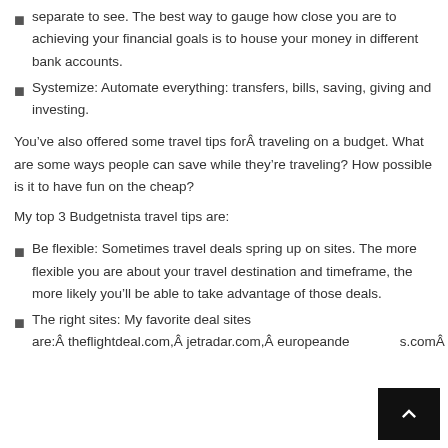separate to see. The best way to gauge how close you are to achieving your financial goals is to house your money in different bank accounts.
Systemize: Automate everything: transfers, bills, saving, giving and investing.
You’ve also offered some travel tips forÂ traveling on a budget. What are some ways people can save while they’re traveling? How possible is it to have fun on the cheap?
My top 3 Budgetnista travel tips are:
Be flexible: Sometimes travel deals spring up on sites. The more flexible you are about your travel destination and timeframe, the more likely you’ll be able to take advantage of those deals.
The right sites: My favorite deal sites are:Â theflightdeal.com,Â jetradar.com,Â europeandestinations.comÂ andÂ airfarewatchdog.com.